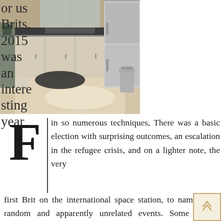[Figure (photo): Kitchen interior with light wood laminate flooring, white lower cabinets along the walls, stainless steel refrigerator, dark countertops, and a black floor mat near the sink area.]
or us Brits, 2015 was an interesting year
F in so numerous techniques, There was a basic election with surprising outcomes, an escalation in the refugee crisis, and on a lighter note, the very first Brit on the international space station, to name but 3 random and apparently unrelated events. Some of the builders who took on 'The Property that House Built' challenge might have been nervous about the home's modern touches.